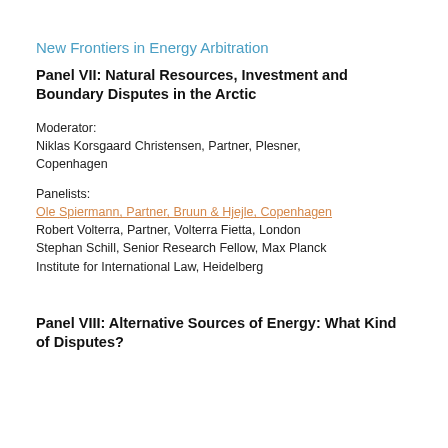New Frontiers in Energy Arbitration
Panel VII: Natural Resources, Investment and Boundary Disputes in the Arctic
Moderator:
Niklas Korsgaard Christensen, Partner, Plesner, Copenhagen
Panelists:
Ole Spiermann, Partner, Bruun & Hjejle, Copenhagen
Robert Volterra, Partner, Volterra Fietta, London
Stephan Schill, Senior Research Fellow, Max Planck Institute for International Law, Heidelberg
Panel VIII: Alternative Sources of Energy: What Kind of Disputes?